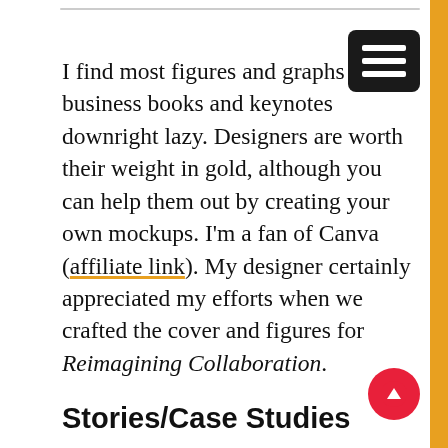I find most figures and graphs in business books and keynotes downright lazy. Designers are worth their weight in gold, although you can help them out by creating your own mockups. I'm a fan of Canva (affiliate link). My designer certainly appreciated my efforts when we crafted the cover and figures for Reimagining Collaboration.
Stories/Case Studies
Data and history are necessary but insufficient conditions for a compelling business text. Show me don't tell me, as a Rush song goes. Bonus points if your social media book doesn't cover well-trodden ground like Comcast Cares